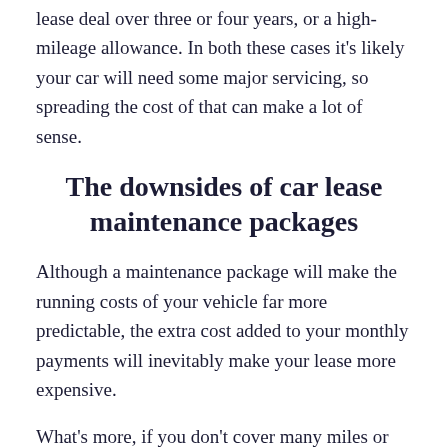lease deal over three or four years, or a high-mileage allowance. In both these cases it's likely your car will need some major servicing, so spreading the cost of that can make a lot of sense.
The downsides of car lease maintenance packages
Although a maintenance package will make the running costs of your vehicle far more predictable, the extra cost added to your monthly payments will inevitably make your lease more expensive.
What's more, if you don't cover many miles or your lease deal is a short one, it may not be worth the cost of rolling a maintenance package into your monthly payments, as the car may not require any dealer servicing at all during its time with you – especially if the